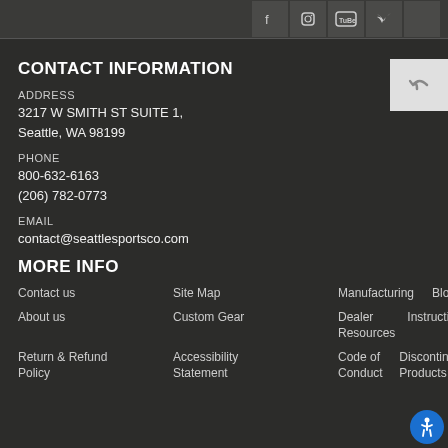[Figure (other): Social media icon buttons (Facebook, Instagram, YouTube, Twitter) in dark toolbar at top]
CONTACT INFORMATION
ADDRESS
3217 W SMITH ST SUITE 1,
Seattle, WA 98199
PHONE
800-632-6163
(206) 782-0773
EMAIL
contact@seattlesportsco.com
MORE INFO
Contact us
Site Map
Manufacturing
Blog
About us
Custom Gear
Dealer Resources
Instructions
Return & Refund Policy
Accessibility Statement
Code of Conduct
Discontinued Products